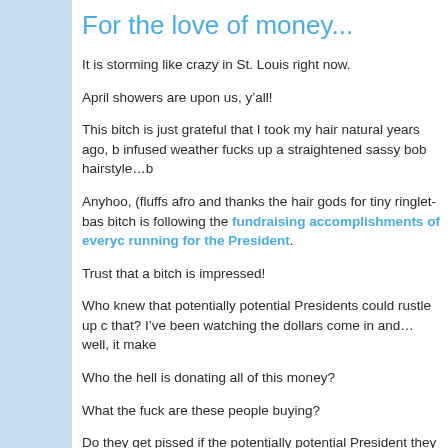For the love of money...
It is storming like crazy in St. Louis right now.
April showers are upon us, y’all!
This bitch is just grateful that I took my hair natural years ago, b infused weather fucks up a straightened sassy bob hairstyle…b
Anyhoo, (fluffs afro and thanks the hair gods for tiny ringlet-bas bitch is following the fundraising accomplishments of everyc running for the President.
Trust that a bitch is impressed!
Who knew that potentially potential Presidents could rustle up c that? I’ve been watching the dollars come in and…well, it make
Who the hell is donating all of this money?
What the fuck are these people buying?
Do they get pissed if the potentially potential President they dropped a load of cash on in March fizzles out by June?